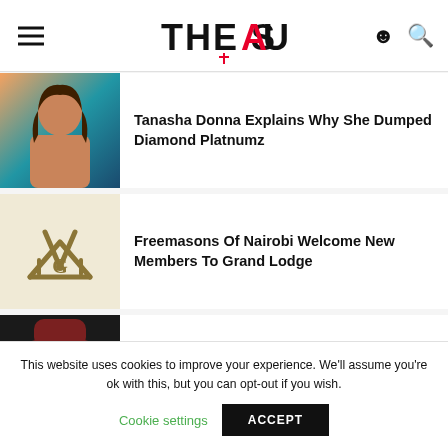THE SAUCE
Tanasha Donna Explains Why She Dumped Diamond Platnumz
Freemasons Of Nairobi Welcome New Members To Grand Lodge
Superstar Chris Brown Approves Of Kenya's Matatu Art
This website uses cookies to improve your experience. We'll assume you're ok with this, but you can opt-out if you wish.
Cookie settings   ACCEPT